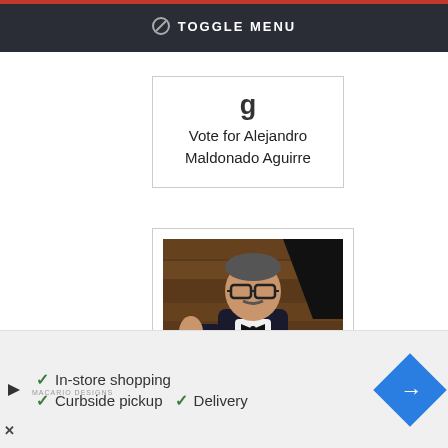TOGGLE MENU
Vote for Alejandro Maldonado Aguirre
[Figure (photo): Man in black tuxedo with bow tie and glasses giving thumbs up at an event]
✓ In-store shopping  ✓ Curbside pickup  ✓ Delivery